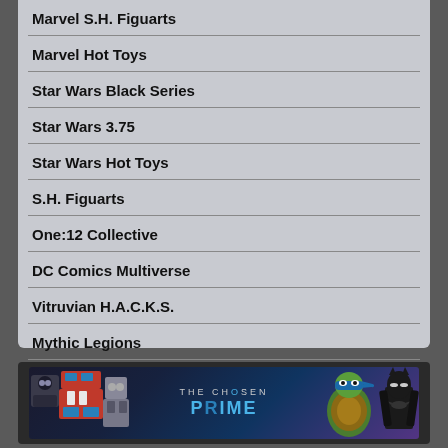Marvel S.H. Figuarts
Marvel Hot Toys
Star Wars Black Series
Star Wars 3.75
Star Wars Hot Toys
S.H. Figuarts
One:12 Collective
DC Comics Multiverse
Vitruvian H.A.C.K.S.
Mythic Legions
Robo Force
[Figure (logo): The Chosen Prime banner/logo with action figures on dark background including Transformers, TMNT turtle, and Batman characters]